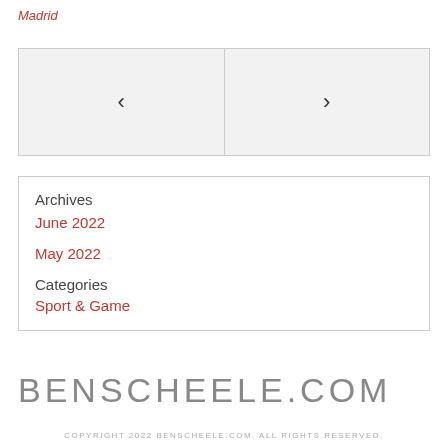Madrid
[Figure (other): Navigation widget with left chevron and right chevron arrows in a two-panel gray box]
Archives
June 2022
May 2022
Categories
Sport & Game
BENSCHEELE.COM
COPYRIGHT 2022 BENSCHEELE.COM. ALL RIGHTS RESERVED.